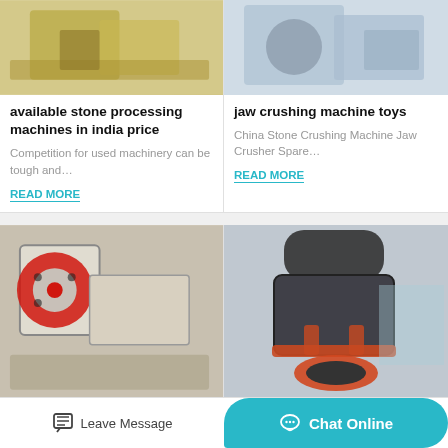[Figure (photo): Stone processing machine, yellowish industrial equipment]
available stone processing machines in india price
Competition for used machinery can be tough and…
READ MORE
[Figure (photo): Jaw crushing machine, industrial crusher equipment]
jaw crushing machine toys
China Stone Crushing Machine Jaw Crusher Spare…
READ MORE
[Figure (photo): Cadmium ore crusher rock, large jaw crusher machine in industrial shed]
cadmium ore crusherrock
[Figure (photo): Nirmana Equipment, cone crusher industrial machinery]
Nirmana Equipment